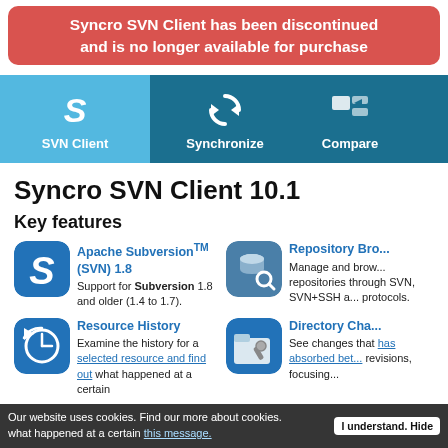Syncro SVN Client has been discontinued and is no longer available for purchase
[Figure (screenshot): Navigation bar with SVN Client (active, light blue), Synchronize, and Compare tabs with icons]
Syncro SVN Client 10.1
Key features
[Figure (logo): Syncro SVN Client app icon - blue rounded square with S letter]
Apache Subversion TM (SVN) 1.8
Support for Subversion 1.8 and older (1.4 to 1.7).
[Figure (logo): Repository Browser icon - blue rounded square with database and magnifier]
Repository Bro...
Manage and brow... repositories through SVN, SVN+SSH a... protocols.
[Figure (logo): Resource History icon - blue rounded square with clock/history symbol]
Resource History
Examine the history for a selected resource and find out what happened at a certain
[Figure (logo): Directory Changes icon - blue rounded square with folder and wrench]
Directory Cha...
See changes that has absorbed bet... revisions, focusing...
Our website uses cookies. Find our more about cookies. what happened at a certain this message. | I understand. Hide